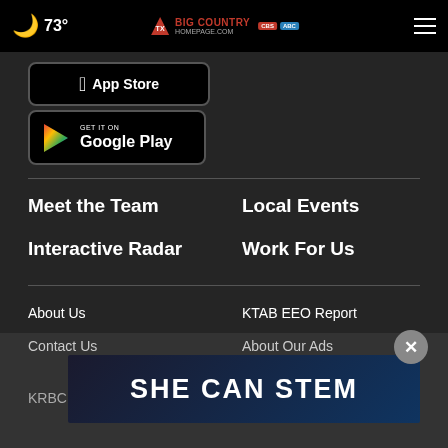🌙 73° | Big Country Homepage | Menu
[Figure (screenshot): App Store download button - black rounded rectangle with Apple icon and 'App Store' text]
[Figure (screenshot): Google Play download button - black rounded rectangle with Play triangle icon, 'GET IT ON Google Play' text]
Meet the Team
Local Events
Interactive Radar
Work For Us
About Us
KTAB EEO Report
Contact Us
About Our Ads
KRBC Public File
KXAB Public File
[Figure (illustration): SHE CAN STEM promotional banner with dark blue/navy space-themed background and large white bold text]